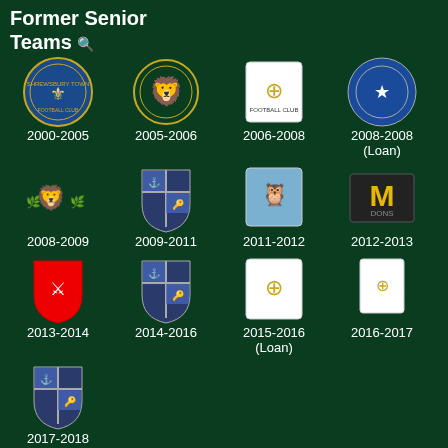Former Senior Teams 🔍
2000-2005
2005-2006
2006-2008
2008-2008 (Loan)
2008-2009
2009-2011
2011-2012
2012-2013
2013-2014
2014-2016
2015-2016 (Loan)
2016-2017
2017-2018
Former Club Staff 🔍